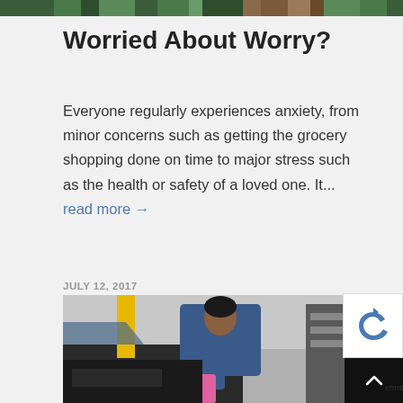[Figure (photo): Colorful mosaic/pattern image strip at top of page]
Worried About Worry?
Everyone regularly experiences anxiety, from minor concerns such as getting the grocery shopping done on time to major stress such as the health or safety of a loved one. It... read more →
JULY 12, 2017
[Figure (photo): Photo of a mechanic in blue uniform leaning over a car engine, pouring pink fluid]